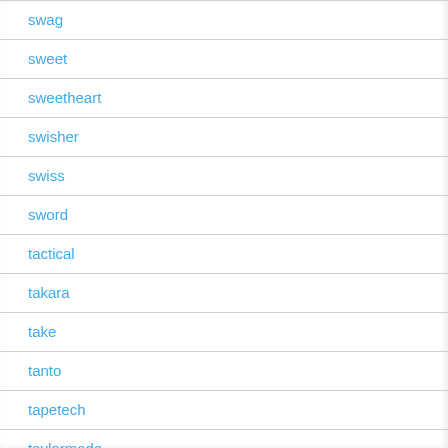swag
sweet
sweetheart
swisher
swiss
sword
tactical
takara
take
tanto
tapetech
taylormade
taylormadetiger